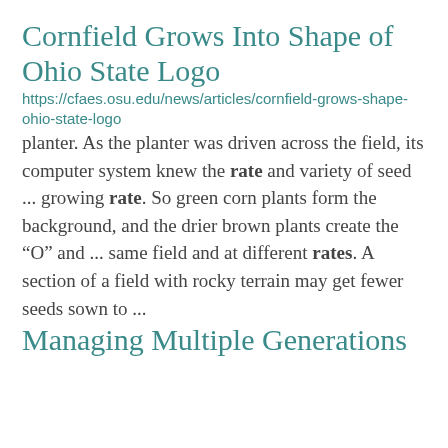Cornfield Grows Into Shape of Ohio State Logo
https://cfaes.osu.edu/news/articles/cornfield-grows-shape-ohio-state-logo
planter. As the planter was driven across the field, its computer system knew the rate and variety of seed ... growing rate. So green corn plants form the background, and the drier brown plants create the “O” and ... same field and at different rates. A section of a field with rocky terrain may get fewer seeds sown to ...
Managing Multiple Generations